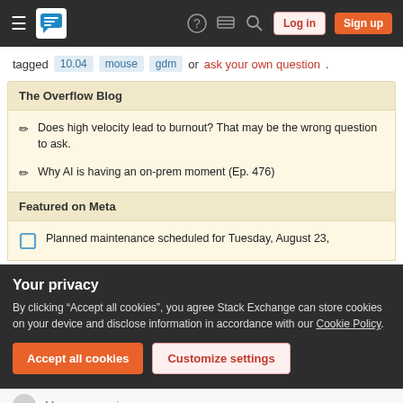Stack Exchange navigation bar with hamburger menu, logo, help, chat, search, Log in, Sign up buttons
tagged 10.04 mouse gdm or ask your own question.
The Overflow Blog
Does high velocity lead to burnout? That may be the wrong question to ask.
Why AI is having an on-prem moment (Ep. 476)
Featured on Meta
Planned maintenance scheduled for Tuesday, August 23,
Your privacy
By clicking “Accept all cookies”, you agree Stack Exchange can store cookies on your device and disclose information in accordance with our Cookie Policy.
Accept all cookies
Customize settings